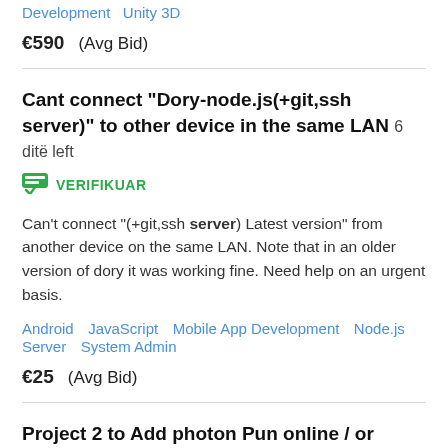Development   Unity 3D
€590   (Avg Bid)
Cant connect "Dory-node.js(+git,ssh server)" to other device in the same LAN  6 ditë left
VERIFIKUAR
Can't connect "(+git,ssh server) Latest version" from another device on the same LAN. Note that in an older version of dory it was working fine. Need help on an urgent basis.
Android   JavaScript   Mobile App Development   Node.js   Server   System Admin
€25   (Avg Bid)
Project 2 to Add photon Pun online / or other network/server system to a ready game  6 ditë